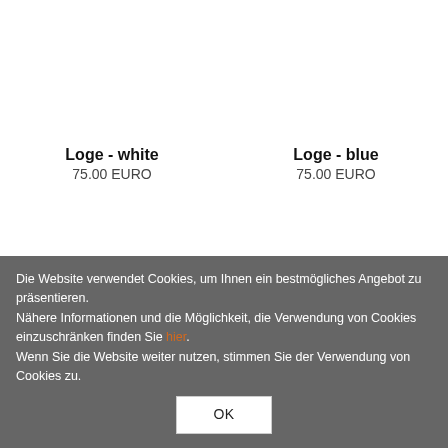Loge - white
75.00 EURO
Loge - blue
75.00 EURO
Die Website verwendet Cookies, um Ihnen ein bestmögliches Angebot zu präsentieren.
Nähere Informationen und die Möglichkeit, die Verwendung von Cookies einzuschränken finden Sie hier.
Wenn Sie die Website weiter nutzen, stimmen Sie der Verwendung von Cookies zu.
OK